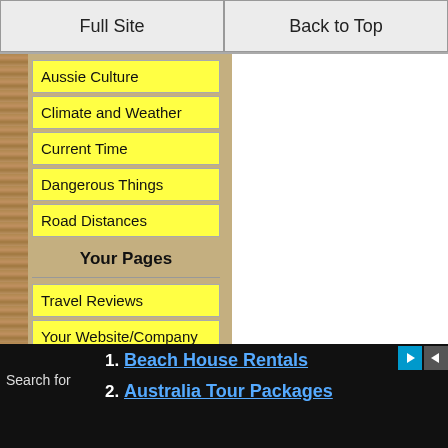Full Site
Back to Top
Aussie Culture
Climate and Weather
Current Time
Dangerous Things
Road Distances
Your Pages
Travel Reviews
Your Website/Company
Make Your Own Website
How to Make a Website
Make Money Website
Using this Website
Search for
Beach House Rentals
Australia Tour Packages